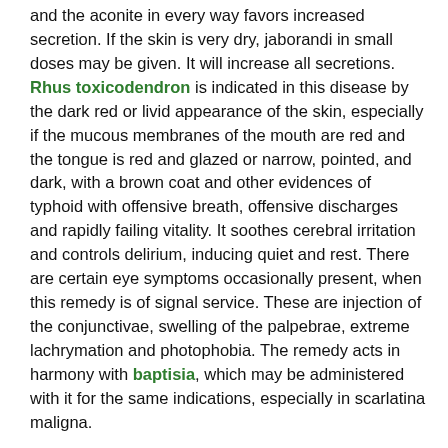and the aconite in every way favors increased secretion. If the skin is very dry, jaborandi in small doses may be given. It will increase all secretions. Rhus toxicodendron is indicated in this disease by the dark red or livid appearance of the skin, especially if the mucous membranes of the mouth are red and the tongue is red and glazed or narrow, pointed, and dark, with a brown coat and other evidences of typhoid with offensive breath, offensive discharges and rapidly failing vitality. It soothes cerebral irritation and controls delirium, inducing quiet and rest. There are certain eye symptoms occasionally present, when this remedy is of signal service. These are injection of the conjunctivae, swelling of the palpebrae, extreme lachrymation and photophobia. The remedy acts in harmony with baptisia, which may be administered with it for the same indications, especially in scarlatina maligna.
Other remedies found useful in the various phases of this disease are lobelia, myrica, capsicum, ailanthus and sticta. Dr. Pike a few years ago was enthusiastic concerning the action of sarracenia, claiming that this remedy would meet all indications alone. Dr. Peart of England gave small doses every hour of the ammonium carbonate in three hundred cases of this disease and claimed success in every case. It stimulated the action of the